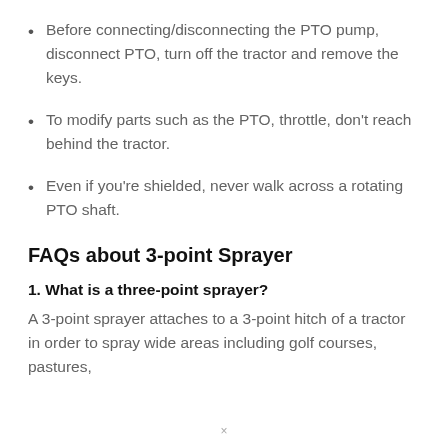Before connecting/disconnecting the PTO pump, disconnect PTO, turn off the tractor and remove the keys.
To modify parts such as the PTO, throttle, don't reach behind the tractor.
Even if you're shielded, never walk across a rotating PTO shaft.
FAQs about 3-point Sprayer
1. What is a three-point sprayer?
A 3-point sprayer attaches to a 3-point hitch of a tractor in order to spray wide areas including golf courses, pastures,